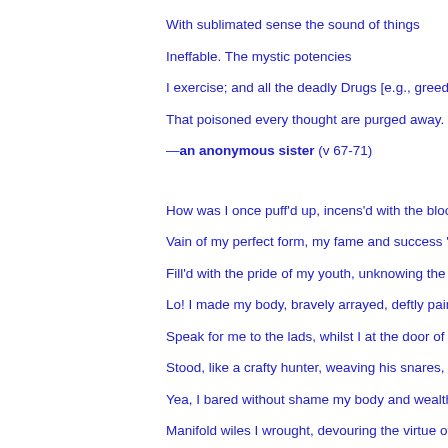With sublimated sense the sound of things
Ineffable. The mystic potencies
I exercise; and all the deadly Drugs [e.g., greed,
That poisoned every thought are purged away.
—an anonymous sister (v 67-71)
How was I once puff'd up, incens'd with the bloo
Vain of my perfect form, my fame and success 'm
Fill'd with the pride of my youth, unknowing the T
Lo! I made my body, bravely arrayed, deftly paint
Speak for me to the lads, whilst I at the door of th
Stood, like a crafty hunter, weaving his snares, e
Yea, I bared without shame my body and wealth
Manifold wiles I wrought, devouring the virtue of n
To-day with shaven head, wrapt in my robe [as a